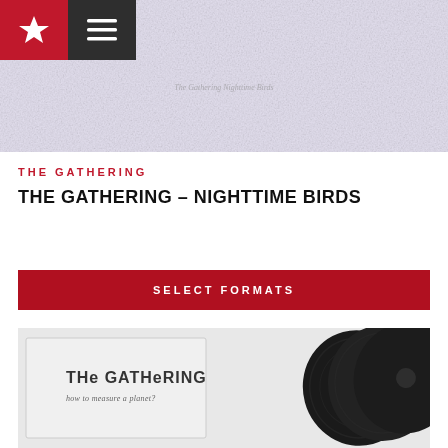[Figure (photo): Album cover of The Gathering - Nighttime Birds, light lavender/white textured background with faint cursive text reading 'The Gathering Nighttime Birds']
THE GATHERING
THE GATHERING – NIGHTTIME BIRDS
SELECT FORMATS
[Figure (photo): Album cover of The Gathering - How to Measure a Planet, showing vinyl records fanned out with an inset of the album art. Text reads 'THE GATHERING' and 'how to measure a planet?']